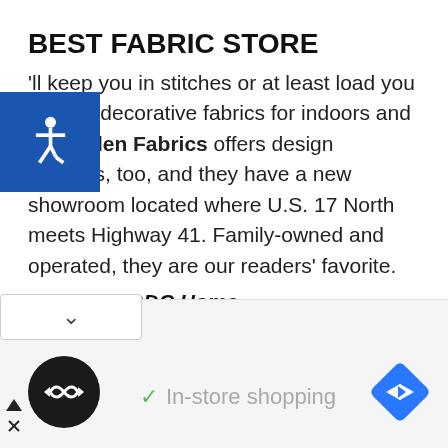BEST FABRIC STORE
'll keep you in stitches or at least load you up with decorative fabrics for indoors and out. Aiden Fabrics offers design services, too, and they have a new showroom located where U.S. 17 North meets Highway 41. Family-owned and operated, they are our readers' favorite.
Second – GDC Home
Third – Hobby Lobby
BEST FISH AND TACKLE SHOP
g all anglers! Our readers have spoken: Haddrell's
[Figure (logo): Accessibility wheelchair icon on blue square background]
[Figure (logo): Black circle with white infinity/loop arrow logo]
[Figure (logo): Blue diamond navigation/directions icon]
In-store shopping
[Figure (other): Dropdown selector chevron box]
[Figure (other): Ad close triangle and X icons]